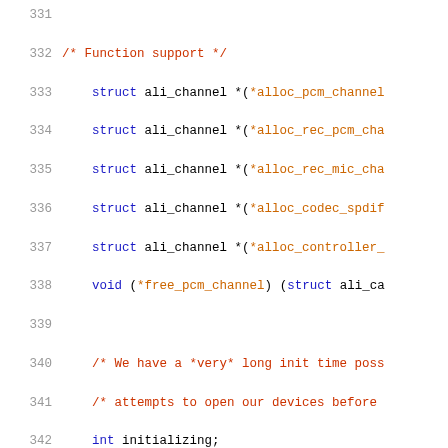Source code listing, lines 331-351, showing C struct definition with function pointers and static declarations for ALI audio driver.